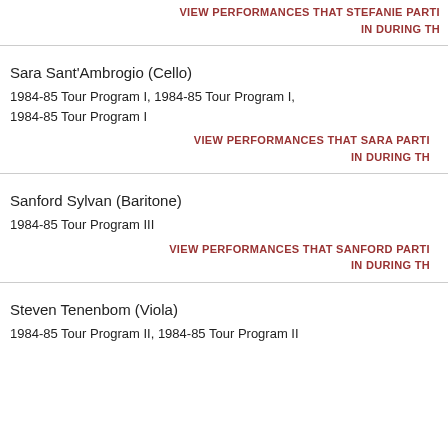VIEW PERFORMANCES THAT STEFANIE PARTI IN DURING TH
Sara Sant'Ambrogio (Cello)
1984-85 Tour Program I, 1984-85 Tour Program I, 1984-85 Tour Program I
VIEW PERFORMANCES THAT SARA PARTI IN DURING TH
Sanford Sylvan (Baritone)
1984-85 Tour Program III
VIEW PERFORMANCES THAT SANFORD PARTI IN DURING TH
Steven Tenenbom (Viola)
1984-85 Tour Program II, 1984-85 Tour Program II